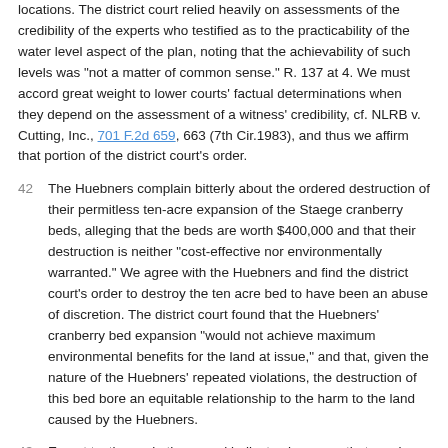locations. The district court relied heavily on assessments of the credibility of the experts who testified as to the practicability of the water level aspect of the plan, noting that the achievability of such levels was "not a matter of common sense." R. 137 at 4. We must accord great weight to lower courts' factual determinations when they depend on the assessment of a witness' credibility, cf. NLRB v. Cutting, Inc., 701 F.2d 659, 663 (7th Cir.1983), and thus we affirm that portion of the district court's order.
42 The Huebners complain bitterly about the ordered destruction of their permitless ten-acre expansion of the Staege cranberry beds, alleging that the beds are worth $400,000 and that their destruction is neither "cost-effective nor environmentally warranted." We agree with the Huebners and find the district court's order to destroy the ten acre bed to have been an abuse of discretion. The district court found that the Huebners' cranberry bed expansion "would not achieve maximum environmental benefits for the land at issue," and that, given the nature of the Huebners' repeated violations, the destruction of this bed bore an equitable relationship to the harm to the land caused by the Huebners.
43 Expert testimony in the record indicates however, that cranberry